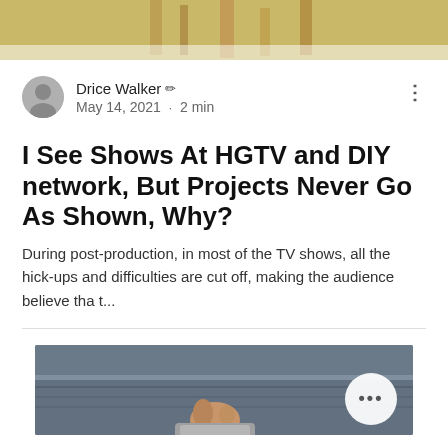[Figure (photo): Top cropped photo of wooden furniture/construction in a room]
Drice Walker ✏ May 14, 2021 · 2 min
I See Shows At HGTV and DIY network, But Projects Never Go As Shown, Why?
During post-production, in most of the TV shows, all the hick-ups and difficulties are cut off, making the audience believe tha t...
[Figure (photo): Cropped photo of a hand placing or working with a stone/brick on fabric material, with a circular more-options button overlay]